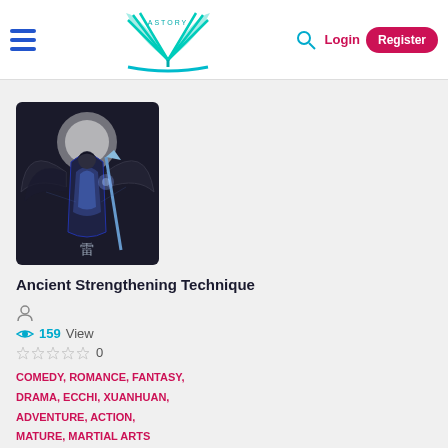Astory — Login | Register
[Figure (illustration): Fantasy warrior character with dark wings and blue armor against a dark background]
Ancient Strengthening Technique
159 View
0
COMEDY, ROMANCE, FANTASY, DRAMA, ECCHI, XUANHUAN, ADVENTURE, ACTION, MATURE, MARTIAL ARTS